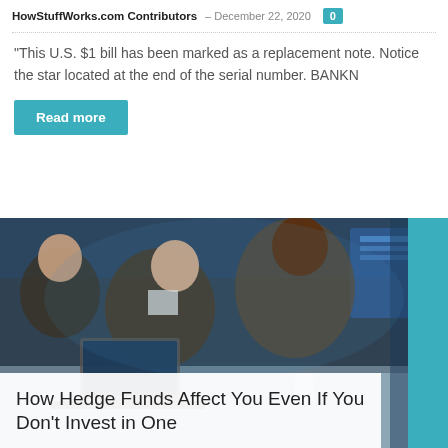HowStuffWorks.com Contributors – December 22, 2020  0
"This U.S. $1 bill has been marked as a replacement note. Notice the star located at the end of the serial number. BANKN
Read more
[Figure (photo): Business meeting scene with two men in suits reviewing charts and documents at a conference table with laptops and screens in background.]
How Hedge Funds Affect You Even If You Don't Invest in One